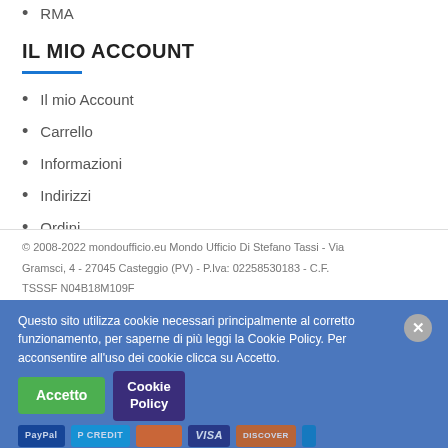RMA
IL MIO ACCOUNT
Il mio Account
Carrello
Informazioni
Indirizzi
Ordini
I miei dati
© 2008-2022 mondoufficio.eu  Mondo Ufficio Di Stefano Tassi - Via Gramsci, 4 - 27045 Casteggio (PV) - P.Iva: 02258530183 - C.F. TSSSF N04B18M109F
Questo sito utilizza cookie necessari principalmente al corretto funzionamento, per saperne di più leggi la Cookie Policy. Per acconsentire all'uso dei cookie clicca su Accetto.